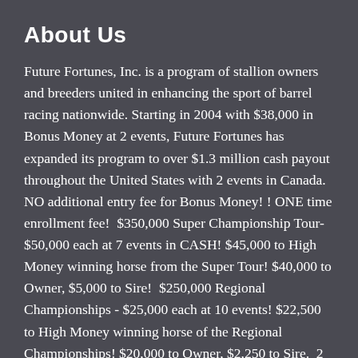About Us
Future Fortunes, Inc. is a program of stallion owners and breeders united in enhancing the sport of barrel racing nationwide. Starting in 2004 with $38,000 in Bonus Money at 2 events, Future Fortunes has expanded its program to over $1.3 million cash payout throughout the United States with 2 events in Canada.  NO additional entry fee for Bonus Money! ! ONE time enrollment fee!  $350,000 Super Championship Tour- $50,000 each at 7 events in CASH! $45,000 to High Money winning horse from the Super Tour! $40,000 to Owner, $5,000 to Sire!  $250,000 Regional Championships - $25,000 each at 10 events! $22,500 to High Money winning horse of the Regional Championships! $20,000 to Owner, $2,250 to Sire.  2 FF Slot Races: Fortunes Round  - $40,000 to Champion. $2,500 to Champion Sire. Juvenile Sires' Slot - $40,000 to the Champion